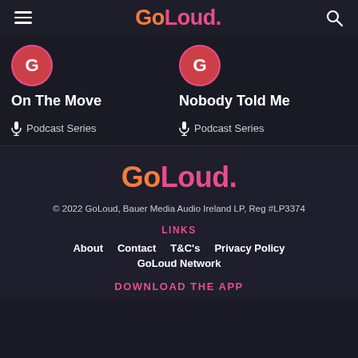GoLoud.
On The Move
Podcast Series
Nobody Told Me
Podcast Series
GoLoud.
© 2022 GoLoud, Bauer Media Audio Ireland LP, Reg #LP3374
LINKS
About
Contact
T&C's
Privacy Policy
GoLoud Network
DOWNLOAD THE APP